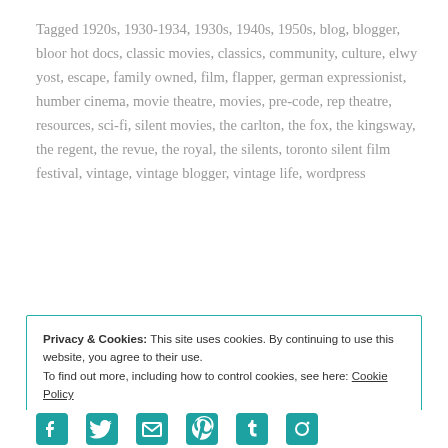Tagged 1920s, 1930-1934, 1930s, 1940s, 1950s, blog, blogger, bloor hot docs, classic movies, classics, community, culture, elwy yost, escape, family owned, film, flapper, german expressionist, humber cinema, movie theatre, movies, pre-code, rep theatre, resources, sci-fi, silent movies, the carlton, the fox, the kingsway, the regent, the revue, the royal, the silents, toronto silent film festival, vintage, vintage blogger, vintage life, wordpress
Leave a comment
Privacy & Cookies: This site uses cookies. By continuing to use this website, you agree to their use. To find out more, including how to control cookies, see here: Cookie Policy
Close and accept
[Figure (other): Row of teal/cyan social media icons (Facebook, Twitter, Instagram/envelope, Pinterest, Tumblr, Tumblr variant) at the bottom of the page]